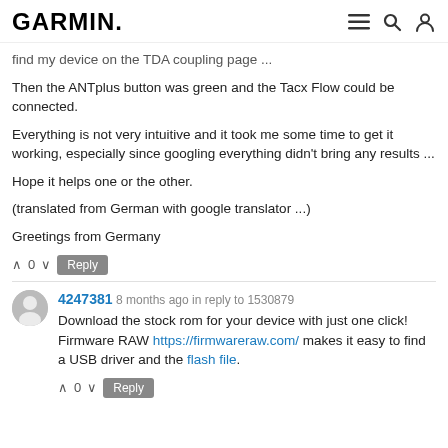GARMIN.
find my device  on the TDA coupling page ...
Then the ANTplus button was green and the Tacx Flow could be connected.
Everything is not very intuitive and it took me some time to get it working, especially since googling everything didn't bring any results ...
Hope it helps one or the other.
(translated from German with google translator ...)
Greetings from Germany
^ 0 v  Reply
4247381  8 months ago in reply to 1530879
Download the stock rom for your device with just one click! Firmware RAW https://firmwareraw.com/ makes it easy to find a USB driver and the flash file.
^ 0 v  Reply